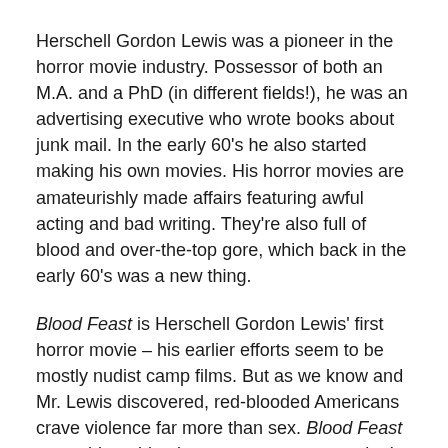Herschell Gordon Lewis was a pioneer in the horror movie industry. Possessor of both an M.A. and a PhD (in different fields!), he was an advertising executive who wrote books about junk mail. In the early 60's he also started making his own movies. His horror movies are amateurishly made affairs featuring awful acting and bad writing. They're also full of blood and over-the-top gore, which back in the early 60's was a new thing.
Blood Feast is Herschell Gordon Lewis' first horror movie – his earlier efforts seem to be mostly nudist camp films. But as we know and Mr. Lewis discovered, red-blooded Americans crave violence far more than sex. Blood Feast was a hit at drive-ins across our great nation!
This movie stars Mal Arnold as Fuad Ramses, exotic caterer, who wants to make an Egyptian feast worthy of